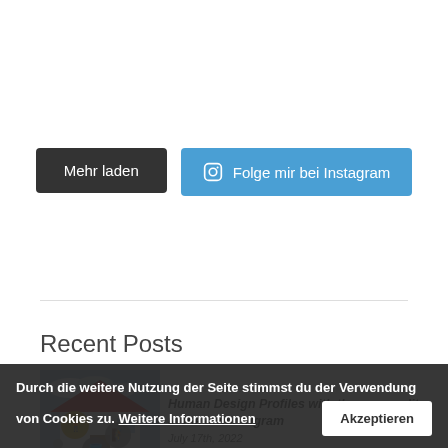Mehr laden
Folge mir bei Instagram
Recent Posts
[Figure (photo): House with silhouettes of workers in circular overlays]
Human Design Profiles with the personality in the lower trigram
July 17th, 2022
Durch die weitere Nutzung der Seite stimmst du der Verwendung von Cookies zu. Weitere Informationen
Akzeptieren